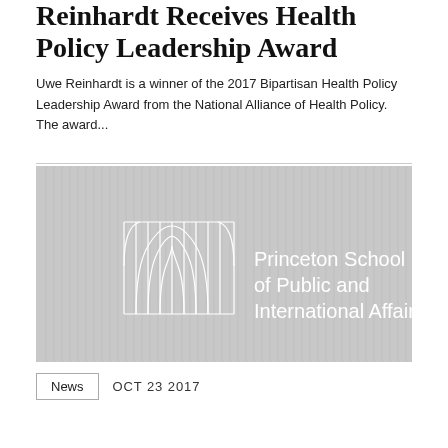Reinhardt Receives Health Policy Leadership Award
Uwe Reinhardt is a winner of the 2017 Bipartisan Health Policy Leadership Award from the National Alliance of Health Policy. The award...
[Figure (logo): Princeton School of Public and International Affairs logo on grey background with architectural arch illustration]
News   OCT 23 2017